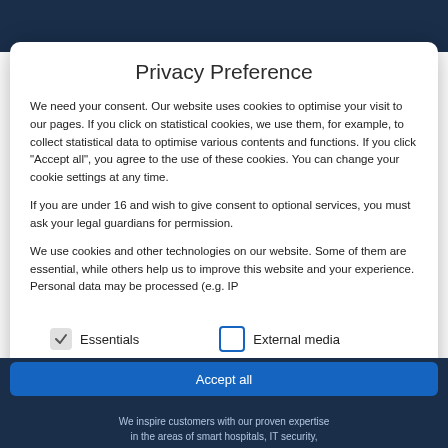Privacy Preference
We need your consent. Our website uses cookies to optimise your visit to our pages. If you click on statistical cookies, we use them, for example, to collect statistical data to optimise various contents and functions. If you click "Accept all", you agree to the use of these cookies. You can change your cookie settings at any time.
If you are under 16 and wish to give consent to optional services, you must ask your legal guardians for permission.
We use cookies and other technologies on our website. Some of them are essential, while others help us to improve this website and your experience. Personal data may be processed (e.g. IP
Essentials
External media
Accept all
We inspire customers with our proven expertise in the areas of smart hospitals, IT security,